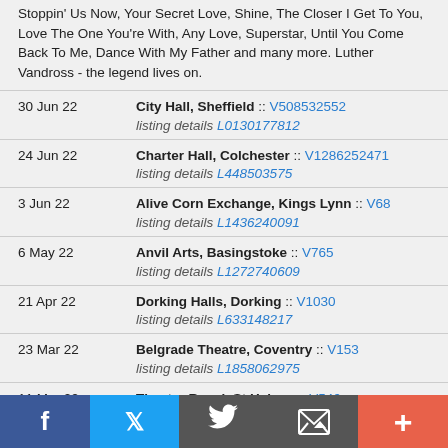Stoppin' Us Now, Your Secret Love, Shine, The Closer I Get To You, Love The One You're With, Any Love, Superstar, Until You Come Back To Me, Dance With My Father and many more. Luther Vandross - the legend lives on.
| Date | Venue |
| --- | --- |
| 30 Jun 22 | City Hall, Sheffield :: V508532552
listing details L0130177812 |
| 24 Jun 22 | Charter Hall, Colchester :: V1286252471
listing details L448503575 |
| 3 Jun 22 | Alive Corn Exchange, Kings Lynn :: V68
listing details L1436240091 |
| 6 May 22 | Anvil Arts, Basingstoke :: V765
listing details L1272740609 |
| 21 Apr 22 | Dorking Halls, Dorking :: V1030
listing details L633148217 |
| 23 Mar 22 | Belgrade Theatre, Coventry :: V153
listing details L1858062975 |
| 11 Mar 22 | Theatre Royal, St Helens :: V546
listing details L1699782412 |